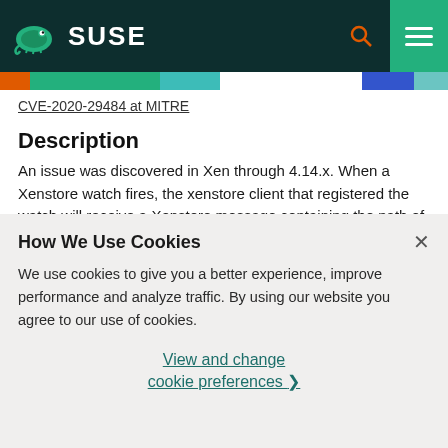SUSE
CVE-2020-29484 at MITRE
Description
An issue was discovered in Xen through 4.14.x. When a Xenstore watch fires, the xenstore client that registered the watch will receive a Xenstore message containing the path of the modified
How We Use Cookies
We use cookies to give you a better experience, improve performance and analyze traffic. By using our website you agree to our use of cookies.
View and change cookie preferences >